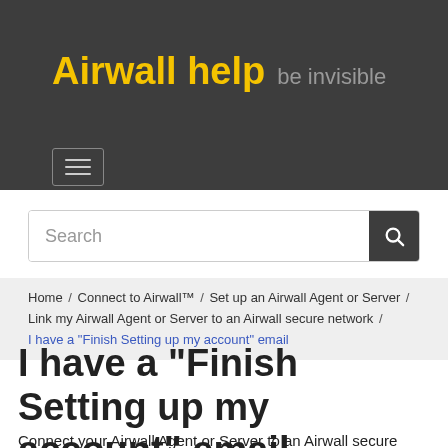Airwall help be invisible
[Figure (screenshot): Hamburger menu button with three horizontal lines, bordered box on dark background]
Search
Home / Connect to Airwall™ / Set up an Airwall Agent or Server / Link my Airwall Agent or Server to an Airwall secure network / I have a "Finish Setting up my account" email
I have a "Finish Setting up my account" email
Connect your Airwall Agent or Server to an Airwall secure network